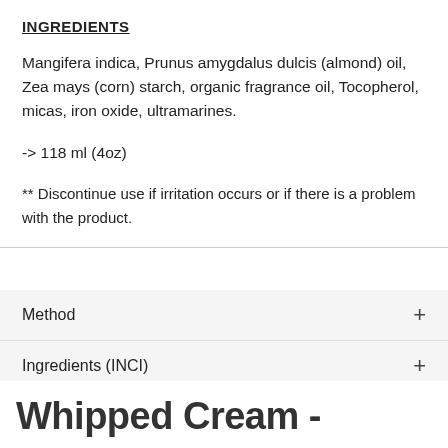INGREDIENTS
Mangifera indica, Prunus amygdalus dulcis (almond) oil, Zea mays (corn) starch, organic fragrance oil, Tocopherol, micas, iron oxide, ultramarines.
-> 118 ml (4oz)
** Discontinue use if irritation occurs or if there is a problem with the product.
Method +
Ingredients (INCI) +
Benefits +
Whipped Cream -